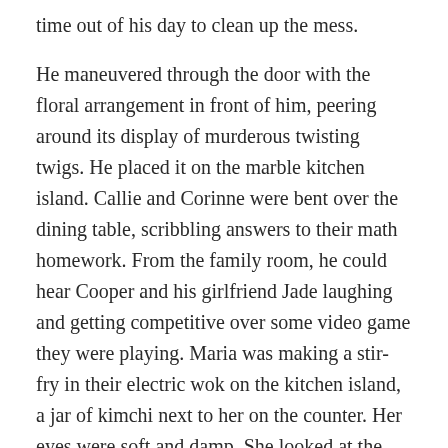time out of his day to clean up the mess.
He maneuvered through the door with the floral arrangement in front of him, peering around its display of murderous twisting twigs. He placed it on the marble kitchen island. Callie and Corinne were bent over the dining table, scribbling answers to their math homework. From the family room, he could hear Cooper and his girlfriend Jade laughing and getting competitive over some video game they were playing. Maria was making a stir-fry in their electric wok on the kitchen island, a jar of kimchi next to her on the counter. Her eyes were soft and damp. She looked at the bouquet on the table. She looked at the window, toward the front yard. She looked at Richard. “Thank you,” she mouthed.
He smiled at her and excused himself to go back outside.